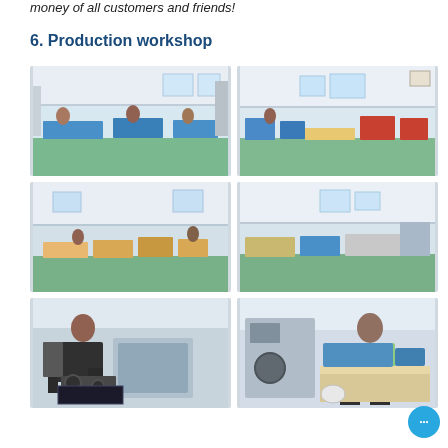money of all customers and friends!
6.  Production workshop
[Figure (photo): Six production workshop photos showing factory floor with workers, assembly lines, storage areas, machinery, and packaging equipment]
[Figure (photo): Chat/contact bubble icon in bottom right corner]